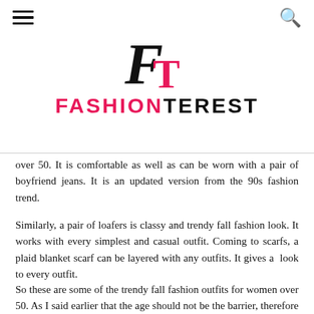FASHIONTEREST
[Figure (logo): FashionTerest logo with stylized F and T letters in black and pink, with FASHIONTEREST text below in pink and black]
over 50. It is comfortable as well as can be worn with a pair of boyfriend jeans. It is an updated version from the 90s fashion trend.
Similarly, a pair of loafers is classy and trendy fall fashion look. It works with every simplest and casual outfit. Coming to scarfs, a plaid blanket scarf can be layered with any outfits. It gives a look to every outfit.
So these are some of the trendy fall fashion outfits for women over 50. As I said earlier that the age should not be the barrier, therefore the only thing is that you should look good, feel comfortable and be trendy.